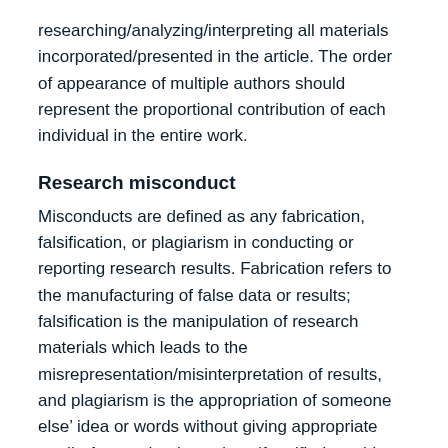researching/analyzing/interpreting all materials incorporated/presented in the article. The order of appearance of multiple authors should represent the proportional contribution of each individual in the entire work.
Research misconduct
Misconducts are defined as any fabrication, falsification, or plagiarism in conducting or reporting research results. Fabrication refers to the manufacturing of false data or results; falsification is the manipulation of research materials which leads to the misrepresentation/misinterpretation of results, and plagiarism is the appropriation of someone else’ idea or words without giving appropriate credit. Any such misconduct, if verified, could lead to the rejection of the submitted manuscript and, if warranted, notification of